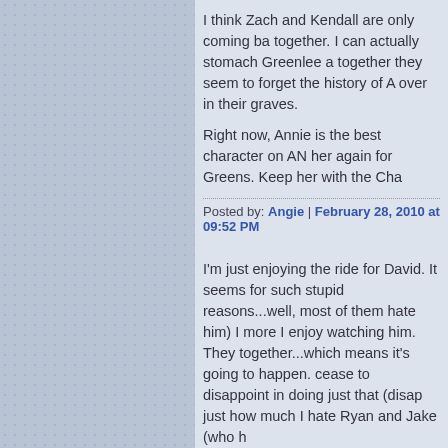I think Zach and Kendall are only coming ba together. I can actually stomach Greenlee a together they seem to forget the history of A over in their graves.
Right now, Annie is the best character on AN her again for Greens. Keep her with the Cha
Posted by: Angie | February 28, 2010 at 09:52 PM
I'm just enjoying the ride for David. It seems for such stupid reasons...well, most of them hate him) I more I enjoy watching him. They together...which means it's going to happen. cease to disappoint in doing just that (disap just how much I hate Ryan and Jake (who h
However, I am not disappointed that Team C gold because they deserve it (John Morris, it know that gold medal will get you a lot of lad because Norway's silver medal matches so pants (they brought sexy back, you know).